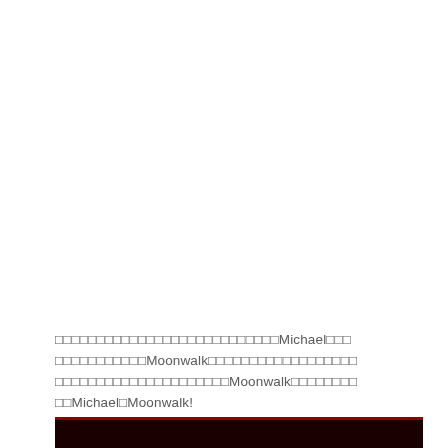□□□□□□□□□□□□□□□□□□□□□□□□□□□Michael□□□□□□□□□□□□□□□Moonwalk□□□□□□□□□□□□□□□□□□□□□□□□□□□□□□□□□□□□□Moonwalk□□□□□□□□□□Michael□Moonwalk!
[Figure (other): Dark footer bar with deep red/dark brown color and a red top border line]